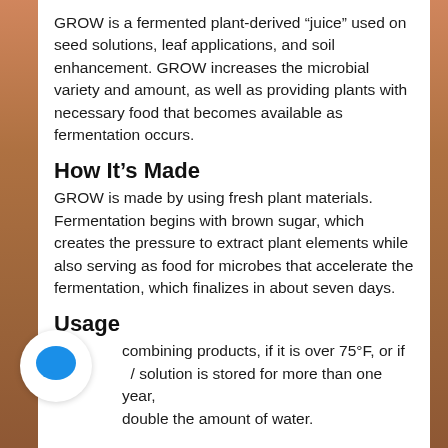GROW is a fermented plant-derived “juice” used on seed solutions, leaf applications, and soil enhancement. GROW increases the microbial variety and amount, as well as providing plants with necessary food that becomes available as fermentation occurs.
How It’s Made
GROW is made by using fresh plant materials. Fermentation begins with brown sugar, which creates the pressure to extract plant elements while also serving as food for microbes that accelerate the fermentation, which finalizes in about seven days.
Usage
combining products, if it is over 75°F, or if solution is stored for more than one year, double the amount of water.